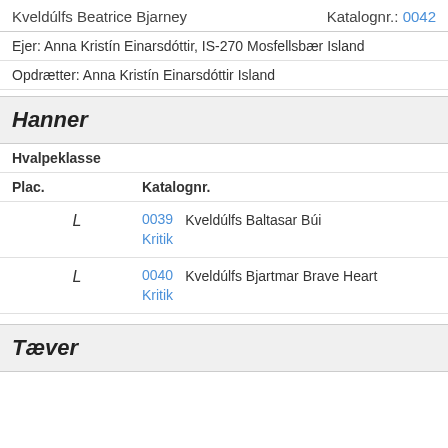Kveldúlfs Beatrice Bjarney   Katalognr.: 0042
Ejer: Anna Kristín Einarsdóttir, IS-270 Mosfellsbær Island
Opdrætter: Anna Kristín Einarsdóttir Island
Hanner
Hvalpeklasse
| Plac. | Katalognr. |  |
| --- | --- | --- |
| L | 0039
Kritik | Kveldúlfs Baltasar Búi |
| L | 0040
Kritik | Kveldúlfs Bjartmar Brave Heart |
Tæver